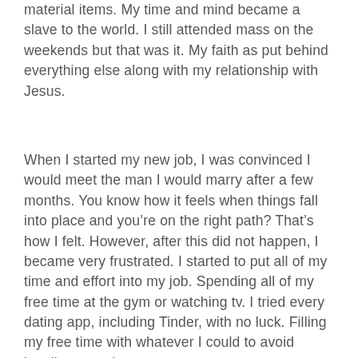material items. My time and mind became a slave to the world. I still attended mass on the weekends but that was it. My faith as put behind everything else along with my relationship with Jesus.
When I started my new job, I was convinced I would meet the man I would marry after a few months. You know how it feels when things fall into place and you’re on the right path? That’s how I felt. However, after this did not happen, I became very frustrated. I started to put all of my time and effort into my job. Spending all of my free time at the gym or watching tv. I tried every dating app, including Tinder, with no luck. Filling my free time with whatever I could to avoid loneliness and